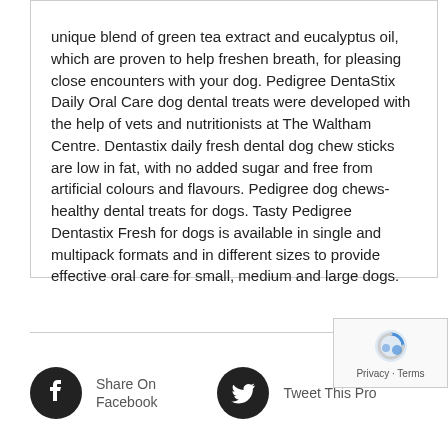unique blend of green tea extract and eucalyptus oil, which are proven to help freshen breath, for pleasing close encounters with your dog. Pedigree DentaStix Daily Oral Care dog dental treats were developed with the help of vets and nutritionists at The Waltham Centre. Dentastix daily fresh dental dog chew sticks are low in fat, with no added sugar and free from artificial colours and flavours. Pedigree dog chews- healthy dental treats for dogs. Tasty Pedigree Dentastix Fresh for dogs is available in single and multipack formats and in different sizes to provide effective oral care for small, medium and large dogs.
Share On Facebook   Tweet This Pro...